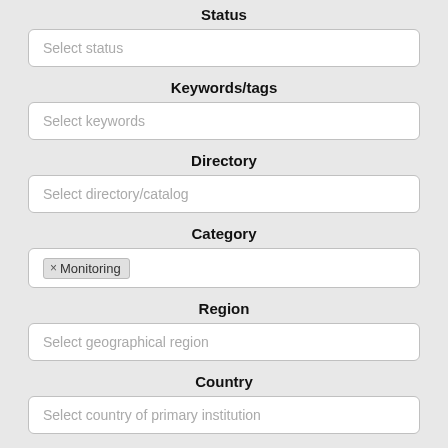Status
Select status
Keywords/tags
Select keywords
Directory
Select directory/catalog
Category
× Monitoring
Region
Select geographical region
Country
Select country of primary institution
Media